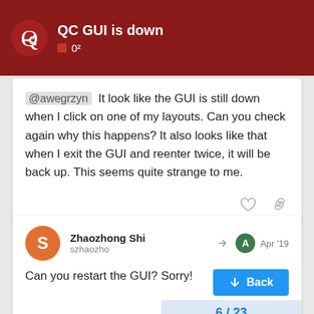QC GUI is down | 0²
@awegrzyn It look like the GUI is still down when I click on one of my layouts. Can you check again why this happens? It also looks like that when I exit the GUI and reenter twice, it will be back up. This seems quite strange to me.
Zhaozhong Shi
szhaozho
Apr '19
Can you restart the GUI? Sorry!
6 / 23